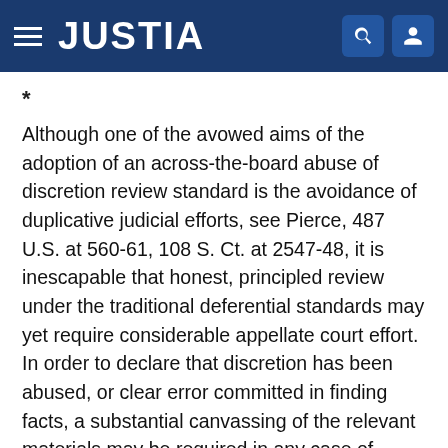JUSTIA
Although one of the avowed aims of the adoption of an across-the-board abuse of discretion review standard is the avoidance of duplicative judicial efforts, see Pierce, 487 U.S. at 560-61, 108 S. Ct. at 2547-48, it is inescapable that honest, principled review under the traditional deferential standards may yet require considerable appellate court effort. In order to declare that discretion has been abused, or clear error committed in finding facts, a substantial canvassing of the relevant materials may be required in any case of significant complexity. See Anderson v. City of Bessemer City, 470 U.S. 564, 581, 105 S. Ct. 1504, 1515, 84 L. Ed. 2d 518 (1985) (Powell, J., concurring) (cautioning that Court's deliberate heightening of deference to be accorded in clear error review of factfindings should not be read to relieve